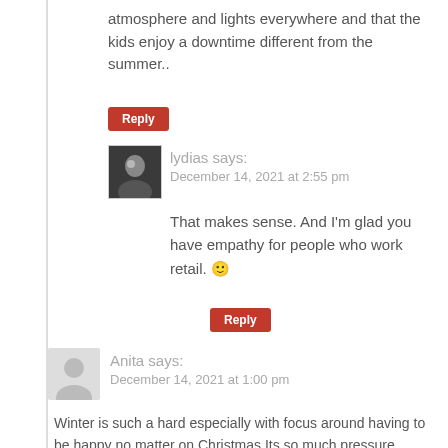atmosphere and lights everywhere and that the kids enjoy a downtime different from the summer..
Reply
lydias says:
December 14, 2021 at 2:55 pm
That makes sense. And I'm glad you have empathy for people who work retail. 🙂
Reply
Anita says:
December 14, 2021 at 1:00 pm
Winter is such a hard especially with focus around having to be happy no matter on Christmas.Its so much pressure.
Take care